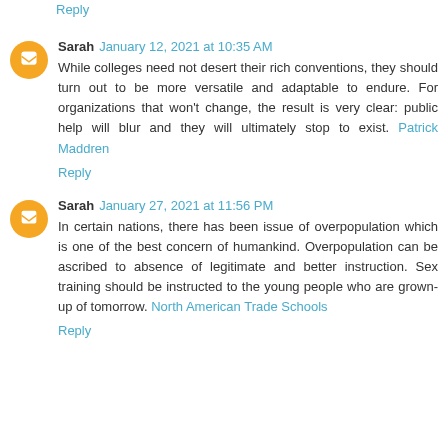Reply
Sarah  January 12, 2021 at 10:35 AM
While colleges need not desert their rich conventions, they should turn out to be more versatile and adaptable to endure. For organizations that won't change, the result is very clear: public help will blur and they will ultimately stop to exist. Patrick Maddren
Reply
Sarah  January 27, 2021 at 11:56 PM
In certain nations, there has been issue of overpopulation which is one of the best concern of humankind. Overpopulation can be ascribed to absence of legitimate and better instruction. Sex training should be instructed to the young people who are grown-up of tomorrow. North American Trade Schools
Reply